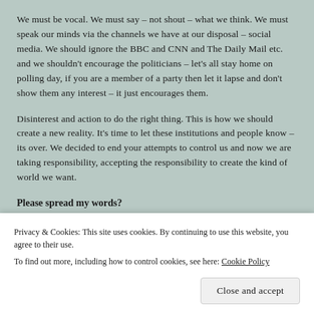We must be vocal. We must say – not shout – what we think. We must speak our minds via the channels we have at our disposal – social media. We should ignore the BBC and CNN and The Daily Mail etc. and we shouldn't encourage the politicians – let's all stay home on polling day, if you are a member of a party then let it lapse and don't show them any interest – it just encourages them.
Disinterest and action to do the right thing. This is how we should create a new reality. It's time to let these institutions and people know – its over. We decided to end your attempts to control us and now we are taking responsibility, accepting the responsibility to create the kind of world we want.
Please spread my words?
[Figure (other): Social media sharing buttons (Facebook, Twitter, Pinterest, and others), partially visible]
Privacy & Cookies: This site uses cookies. By continuing to use this website, you agree to their use.
To find out more, including how to control cookies, see here: Cookie Policy
Close and accept